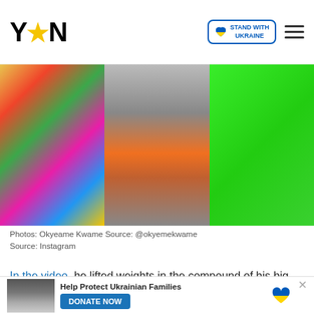YEN [logo] | STAND WITH UKRAINE badge | hamburger menu
[Figure (photo): Three photos side by side: left - person in colorful kente cloth wrap, center - child from behind standing at a gate in orange shorts, right - person in neon green outfit by a pool]
Photos: Okyeame Kwame Source: @okyemekwame
Source: Instagram
In the video, he lifted weights in the compound of his big luxurious home. The house was in a gated community which
[Figure (screenshot): Video player overlay with black background and white circle loading indicator, with close (X) button in top left corner]
Photos On Social Media; Coolness
[Figure (photo): Ukrainian family photo in bottom banner ad]
Help Protect Ukrainian Families
DONATE NOW